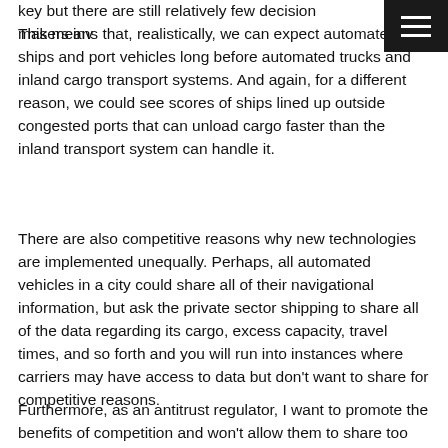key but there are still relatively few decision makers inv... This means that, realistically, we can expect automated ships and port vehicles long before automated trucks and inland cargo transport systems. And again, for a different reason, we could see scores of ships lined up outside congested ports that can unload cargo faster than the inland transport system can handle it.
There are also competitive reasons why new technologies are implemented unequally. Perhaps, all automated vehicles in a city could share all of their navigational information, but ask the private sector shipping to share all of the data regarding its cargo, excess capacity, travel times, and so forth and you will run into instances where carriers may have access to data but don't want to share for competitive reasons.
Furthermore, as an antitrust regulator, I want to promote the benefits of competition and won't allow them to share too much. For example, if a carrier wants to improve its service...